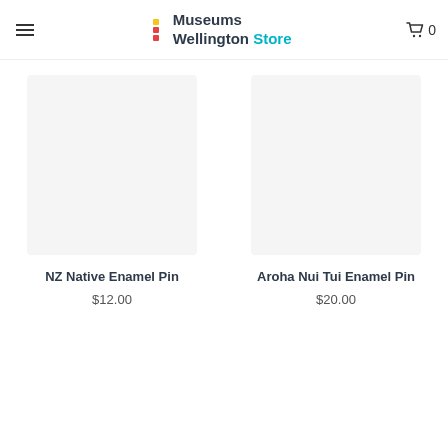Museums Wellington Store
NZ Native Enamel Pin
$12.00
Aroha Nui Tui Enamel Pin
$20.00